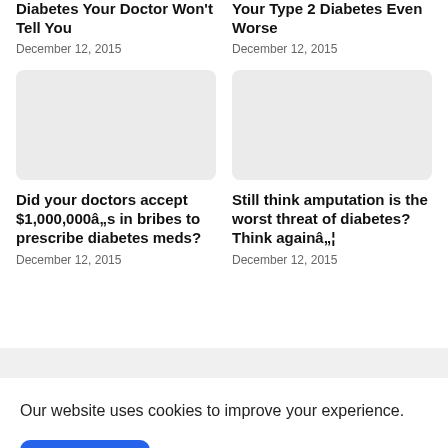Diabetes Your Doctor Won't Tell You
December 12, 2015
Your Type 2 Diabetes Even Worse
December 12, 2015
[Figure (photo): Placeholder image (light gray rectangle) for article about doctors accepting bribes]
Did your doctors accept $1,000,000âs in bribes to prescribe diabetes meds?
December 12, 2015
[Figure (photo): Placeholder image (light gray rectangle) for article about amputation threat of diabetes]
Still think amputation is the worst threat of diabetes? Think againâ¦
December 12, 2015
Our website uses cookies to improve your experience.
Accept !